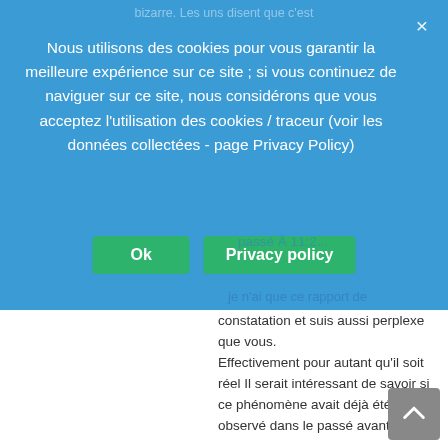[Figure (screenshot): Cookie consent banner overlay with blue background, white text, and two green buttons labeled 'Ok' and 'Privacy policy', plus a close X button.]
je n'ai que ce rapport de constatation et suis aussi perplexe que vous. Effectivement pour autant qu'il soit réel Il serait intéressant de savoir si ce phénomène avait déjà été observé dans le passé avant 2021.
Valérie F  02/09/2021 À 13:51

Philippe Randa d'euro libertés, site de réinformation….cet article ne serait-il pas une contre manipulation de l'extrême-droite ?
La période est vraiment difficile quand on est sincère, honnête et de bonne foi.